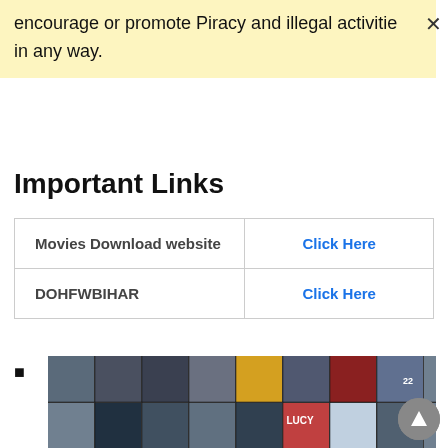encourage or promote Piracy and illegal activities in any way.
Important Links
|  |  |
| --- | --- |
| Movies Download website | Click Here |
| DOHFWBIHAR | Click Here |
[Figure (photo): Mosaic grid of movie poster thumbnails showing various film covers in rows]